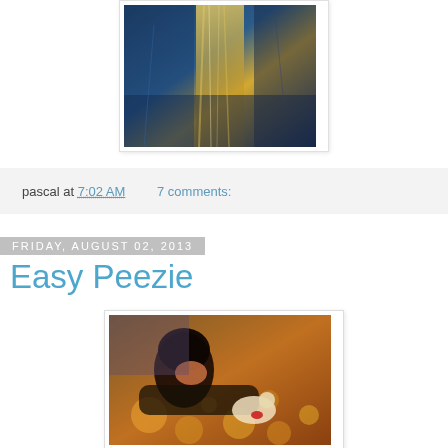[Figure (photo): Abstract painterly image with blue and gold tones, resembling a rainy street or reflective surface]
pascal at 7:02 AM    7 comments:
Friday, August 02, 2013
Easy Peezie
[Figure (illustration): Animated-style illustration of a dark-haired woman reclining, with warm orange tones and spotted pattern in background]